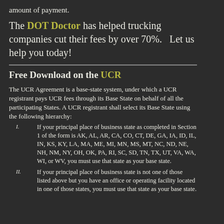amount of payment.
The DOT Doctor has helped trucking companies cut their fees by over 70%.   Let us help you today!
Free Download on the UCR
The UCR Agreement is a base-state system, under which a UCR registrant pays UCR fees through its Base State on behalf of all the participating States. A UCR registrant shall select its Base State using the following hierarchy:
If your principal place of business state as completed in Section 1 of the form is AK, AL, AR, CA, CO, CT, DE, GA, IA, ID, IL, IN, KS, KY, LA, MA, ME, MI, MN, MS, MT, NC, ND, NE, NH, NM, NY, OH, OK, PA, RI, SC, SD, TN, TX, UT, VA, WA, WI, or WV, you must use that state as your base state.
If your principal place of business state is not one of those listed above but you have an office or operating facility located in one of those states, you must use that state as your base state.